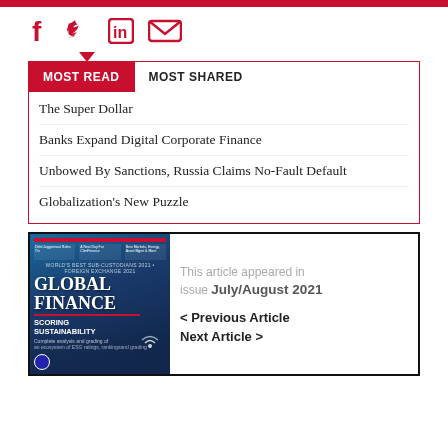[Figure (other): Social media icons row: Facebook (f), Twitter (bird), LinkedIn (in), Email (envelope) — all in red]
MOST READ | MOST SHARED
The Super Dollar
Banks Expand Digital Corporate Finance
Unbowed By Sanctions, Russia Claims No-Fault Default
Globalization's New Puzzle
[Figure (photo): Global Finance magazine cover, July/August 2021. Title: GLOBAL FINANCE. Story: SCORING SUSTAINABILITY. Blue background with wind turbines.]
This article appeared in issue July/August 2021
< Previous Article
Next Article >